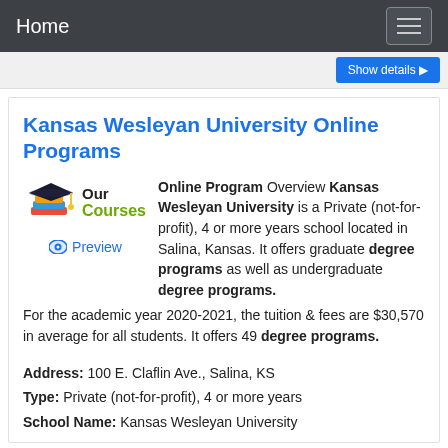Home
Show details ▶
Kansas Wesleyan University Online Programs
[Figure (illustration): Graduation cap and stack of books icon with text 'Our Courses' and a Preview eye icon link]
Online Program Overview Kansas Wesleyan University is a Private (not-for-profit), 4 or more years school located in Salina, Kansas. It offers graduate degree programs as well as undergraduate degree programs. For the academic year 2020-2021, the tuition & fees are $30,570 in average for all students. It offers 49 degree programs.
Address: 100 E. Claflin Ave., Salina, KS
Type: Private (not-for-profit), 4 or more years
School Name: Kansas Wesleyan University